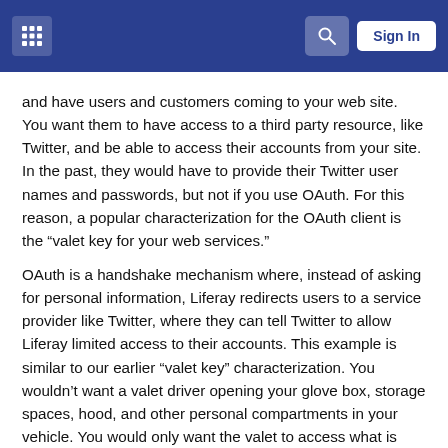Sign In
and have users and customers coming to your web site. You want them to have access to a third party resource, like Twitter, and be able to access their accounts from your site. In the past, they would have to provide their Twitter user names and passwords, but not if you use OAuth. For this reason, a popular characterization for the OAuth client is the “valet key for your web services.”
OAuth is a handshake mechanism where, instead of asking for personal information, Liferay redirects users to a service provider like Twitter, where they can tell Twitter to allow Liferay limited access to their accounts. This example is similar to our earlier “valet key” characterization. You wouldn’t want a valet driver opening your glove box, storage spaces, hood, and other personal compartments in your vehicle. You would only want the valet to access what is necessary to park your car. OAuth is based on this same idea: